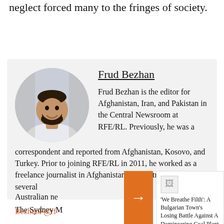neglect forced many to the fringes of society.
[Figure (photo): Circular headshot of Frud Bezhan, a man with dark beard and short hair, wearing a light shirt, with bookshelves in background]
Frud Bezhan
Frud Bezhan is the editor for Afghanistan, Iran, and Pakistan in the Central Newsroom at RFE/RL. Previously, he was a correspondent and reported from Afghanistan, Kosovo, and Turkey. Prior to joining RFE/RL in 2011, he worked as a freelance journalist in Afghanistan and contributed to several Australian ne... The Sydney M...
BezhanF@rf...
'We Breathe Filth': A Bulgarian Town's Losing Battle Against A Domineering Coal Plant